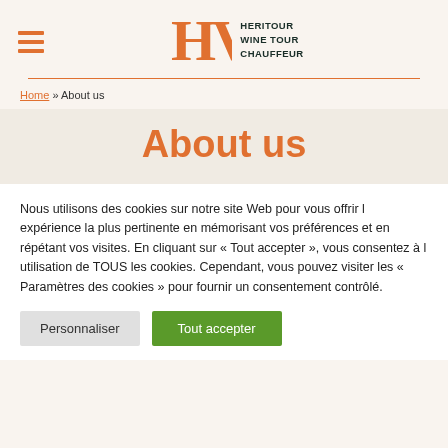HV HERITOUR WINE TOUR CHAUFFEUR
Home » About us
About us
Nous utilisons des cookies sur notre site Web pour vous offrir l expérience la plus pertinente en mémorisant vos préférences et en répétant vos visites. En cliquant sur « Tout accepter », vous consentez à l utilisation de TOUS les cookies. Cependant, vous pouvez visiter les « Paramètres des cookies » pour fournir un consentement contrôlé.
Personnaliser | Tout accepter